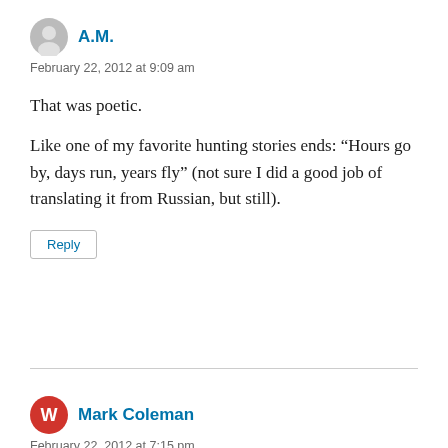A.M.
February 22, 2012 at 9:09 am
That was poetic.
Like one of my favorite hunting stories ends: “Hours go by, days run, years fly” (not sure I did a good job of translating it from Russian, but still).
Reply
Mark Coleman
February 22, 2012 at 7:15 pm